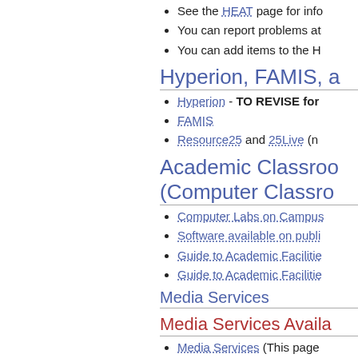See the HEAT page for info
You can report problems at
You can add items to the H
Hyperion, FAMIS, a
Hyperion - TO REVISE for
FAMIS
Resource25 and 25Live (n
Academic Classroo (Computer Classro
Computer Labs on Campus
Software available on publi
Guide to Academic Facilitie
Guide to Academic Facilitie
Media Services
Media Services Availa
Media Services (This page